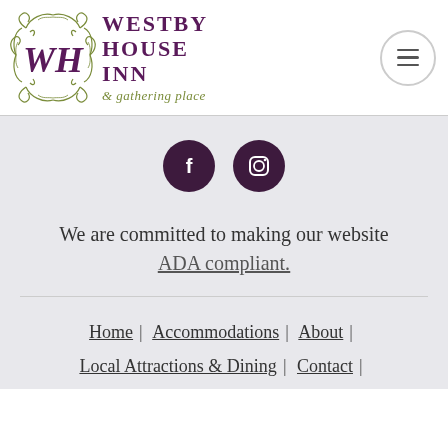[Figure (logo): Westby House Inn & gathering place logo with WH monogram in ornate green/purple style and hamburger menu button]
[Figure (infographic): Two dark purple circular social media icon buttons: Facebook (f) and Instagram (camera icon)]
We are committed to making our website ADA compliant.
Home | Accommodations | About | Local Attractions & Dining | Contact |